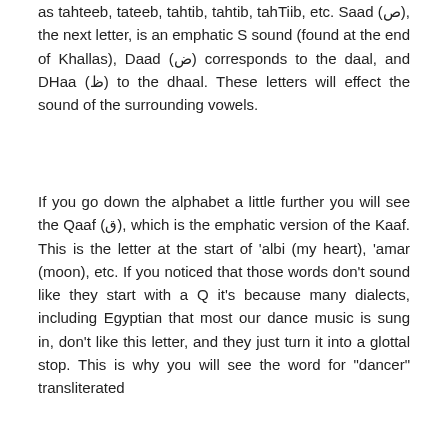as tahteeb, tateeb, tahtib, tahtib, tahTiib, etc. Saad (ص), the next letter, is an emphatic S sound (found at the end of Khallas), Daad (ض) corresponds to the daal, and DHaa (ظ) to the dhaal. These letters will effect the sound of the surrounding vowels.
If you go down the alphabet a little further you will see the Qaaf (ق), which is the emphatic version of the Kaaf. This is the letter at the start of 'albi (my heart), 'amar (moon), etc. If you noticed that those words don't sound like they start with a Q it's because many dialects, including Egyptian that most our dance music is sung in, don't like this letter, and they just turn it into a glottal stop. This is why you will see the word for "dancer" transliterated